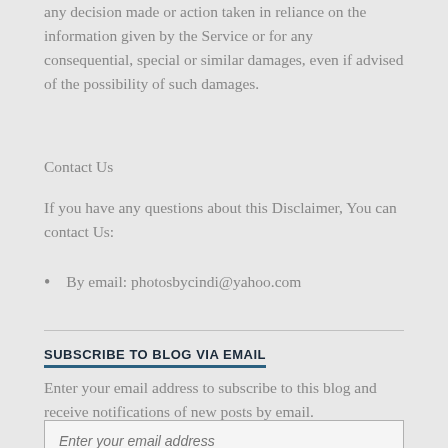any decision made or action taken in reliance on the information given by the Service or for any consequential, special or similar damages, even if advised of the possibility of such damages.
Contact Us
If you have any questions about this Disclaimer, You can contact Us:
By email: photosbycindi@yahoo.com
SUBSCRIBE TO BLOG VIA EMAIL
Enter your email address to subscribe to this blog and receive notifications of new posts by email.
Enter your email address